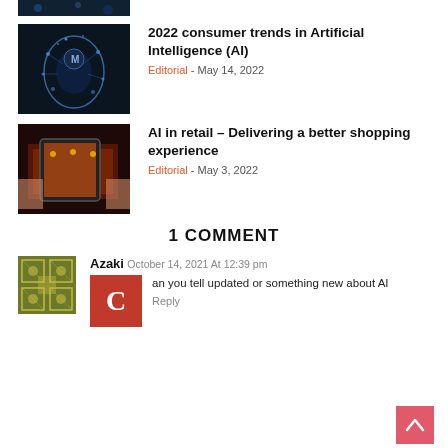[Figure (photo): Partial top crop of an image (bottom of a circuit/tech image)]
[Figure (photo): AI brain concept image with neural network head silhouette]
2022 consumer trends in Artificial Intelligence (AI)
Editorial - May 14, 2022
[Figure (photo): Person holding tablet showing retail/shopping scene]
AI in retail – Delivering a better shopping experience
Editorial - May 3, 2022
1 COMMENT
[Figure (illustration): Decorative avatar icon with geometric pattern]
Azaki October 14, 2021 At 12:39 pm
Can you tell updated or something new about AI
Reply